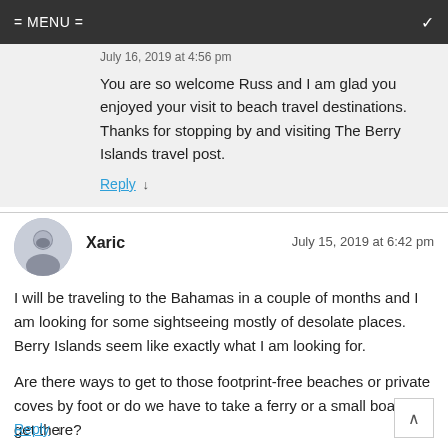= MENU =
July 16, 2019 at 4:56 pm
You are so welcome Russ and I am glad you enjoyed your visit to beach travel destinations. Thanks for stopping by and visiting The Berry Islands travel post.
Reply ↓
Xaric — July 15, 2019 at 6:42 pm
I will be traveling to the Bahamas in a couple of months and I am looking for some sightseeing mostly of desolate places. Berry Islands seem like exactly what I am looking for.

Are there ways to get to those footprint-free beaches or private coves by foot or do we have to take a ferry or a small boat to get there?
Reply ↓